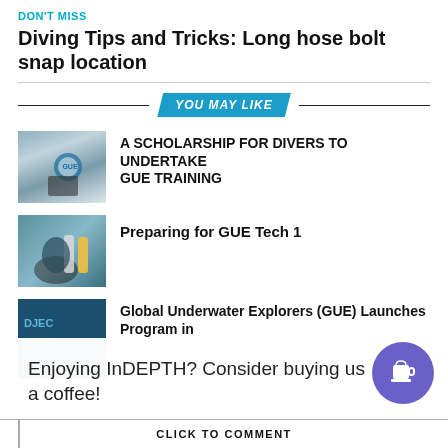DON'T MISS
Diving Tips and Tricks: Long hose bolt snap location
YOU MAY LIKE
[Figure (photo): Diver wearing wetsuit and gear with GUE logo visible]
A SCHOLARSHIP FOR DIVERS TO UNDERTAKE GUE TRAINING
[Figure (photo): Scuba diver with twin tanks near water]
Preparing for GUE Tech 1
[Figure (photo): Dark blue book/publication cover]
Global Underwater Explorers (GUE) Launches Program in
Enjoying InDEPTH? Consider buying us a coffee!
CLICK TO COMMENT